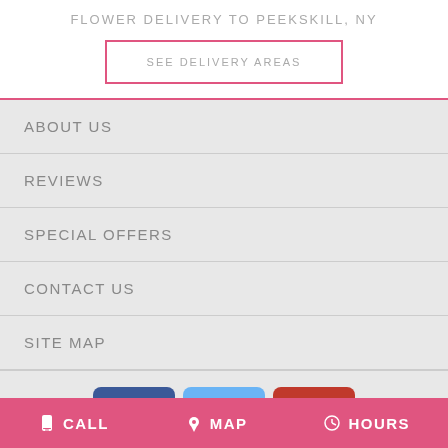FLOWER DELIVERY TO PEEKSKILL, NY
SEE DELIVERY AREAS
ABOUT US
REVIEWS
SPECIAL OFFERS
CONTACT US
SITE MAP
[Figure (logo): Social media icons: Facebook, Google My Business, Yelp]
CALL   MAP   HOURS